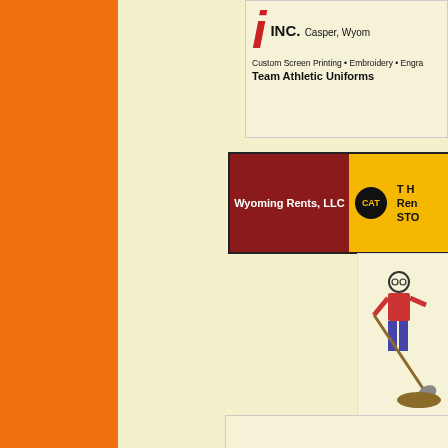[Figure (logo): Orange vertical bar on the left side of the page]
[Figure (logo): Peden Inc. logo - Custom Screen Printing, Embroidery, Engraving, Team Athletic Uniforms - Casper, Wyoming]
[Figure (logo): Wyoming Rents LLC - CAT Rental Store advertisement with red and yellow background]
[Figure (illustration): Cartoon person digging with a shovel]
[Figure (logo): Homax Oil Sales Inc logo]
[Figure (logo): The Foot Doctor P.C. - Family Foot Care Center logo with blue foot]
[Figure (logo): Ha Construction logo partial]